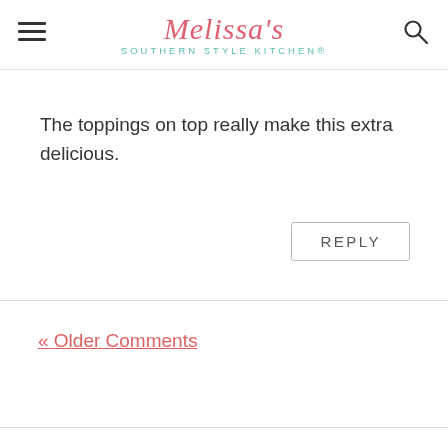Melissa's Southern Style Kitchen®
The toppings on top really make this extra delicious.
REPLY
« Older Comments